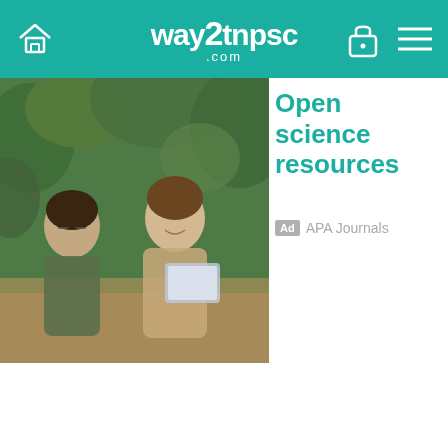way2tnpsc.com
[Figure (photo): Two women sitting at a table outdoors among plants, one holding a tablet, smiling and looking at content together]
Open science resources
Ad  APA Journals